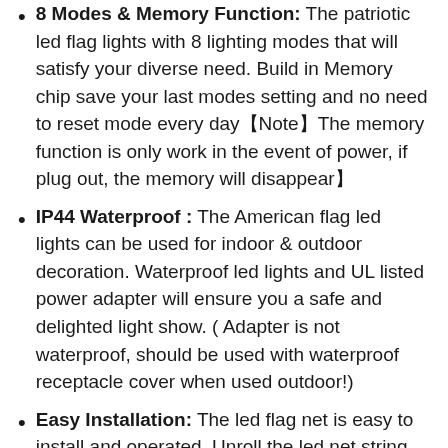8 Modes & Memory Function: The patriotic led flag lights with 8 lighting modes that will satisfy your diverse need. Build in Memory chip save your last modes setting and no need to reset mode every day【Note】The memory function is only work in the event of power, if plug out, the memory will disappear】
IP44 Waterproof : The American flag led lights can be used for indoor & outdoor decoration. Waterproof led lights and UL listed power adapter will ensure you a safe and delighted light show. ( Adapter is not waterproof, should be used with waterproof receptacle cover when used outdoor!)
Easy Installation: The led flag net is easy to install and operated. Unroll the led net string lights and then hang and fix, Plug in the power adapter then you can get the red white blue flag lights...